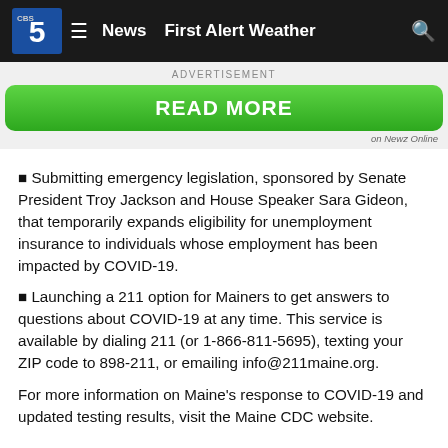News  First Alert Weather
[Figure (screenshot): Advertisement banner with green READ MORE button and 'on Newz Online' label]
▪ Submitting emergency legislation, sponsored by Senate President Troy Jackson and House Speaker Sara Gideon, that temporarily expands eligibility for unemployment insurance to individuals whose employment has been impacted by COVID-19.
▪ Launching a 211 option for Mainers to get answers to questions about COVID-19 at any time. This service is available by dialing 211 (or 1-866-811-5695), texting your ZIP code to 898-211, or emailing info@211maine.org.
For more information on Maine's response to COVID-19 and updated testing results, visit the Maine CDC website.